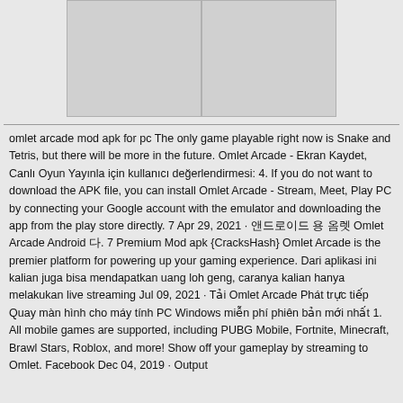[Figure (other): Two placeholder image boxes side by side with grey background]
omlet arcade mod apk for pc The only game playable right now is Snake and Tetris, but there will be more in the future. Omlet Arcade - Ekran Kaydet, Canlı Oyun Yayınla için kullanıcı değerlendirmesi: 4. If you do not want to download the APK file, you can install Omlet Arcade - Stream, Meet, Play PC by connecting your Google account with the emulator and downloading the app from the play store directly. 7 Apr 29, 2021 · 앤드로이드 용 옴렛 Omlet Arcade Android 다. 7 Premium Mod apk {CracksHash} Omlet Arcade is the premier platform for powering up your gaming experience. Dari aplikasi ini kalian juga bisa mendapatkan uang loh geng, caranya kalian hanya melakukan live streaming Jul 09, 2021 · Tải Omlet Arcade Phát trực tiếp Quay màn hình cho máy tính PC Windows miễn phí phiên bản mới nhất 1. All mobile games are supported, including PUBG Mobile, Fortnite, Minecraft, Brawl Stars, Roblox, and more! Show off your gameplay by streaming to Omlet. Facebook Dec 04, 2019 · Output